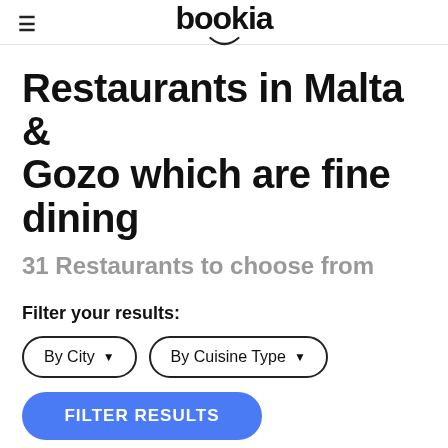bookia
Restaurants in Malta & Gozo which are fine dining
31 Restaurants to choose from
Filter your results:
By City ▾
By Cuisine Type ▾
FILTER RESULTS